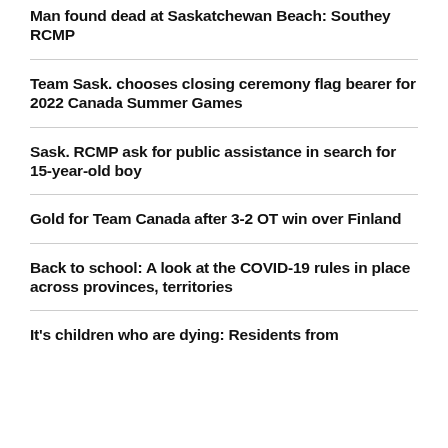Man found dead at Saskatchewan Beach: Southey RCMP
Team Sask. chooses closing ceremony flag bearer for 2022 Canada Summer Games
Sask. RCMP ask for public assistance in search for 15-year-old boy
Gold for Team Canada after 3-2 OT win over Finland
Back to school: A look at the COVID-19 rules in place across provinces, territories
It's children who are dying: Residents from